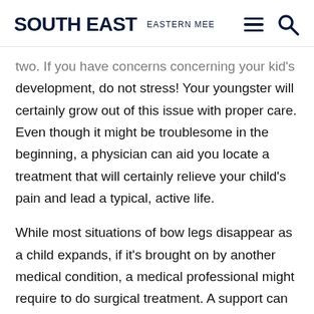SOUTH EAST  EASTERN MEE
two. If you have concerns concerning your kid's development, do not stress! Your youngster will certainly grow out of this issue with proper care. Even though it might be troublesome in the beginning, a physician can aid you locate a treatment that will certainly relieve your child's pain and lead a typical, active life.
While most situations of bow legs disappear as a child expands, if it's brought on by another medical condition, a medical professional might require to do surgical treatment. A support can assist the legs right into a straighter setting. An osteotomy is one more therapy